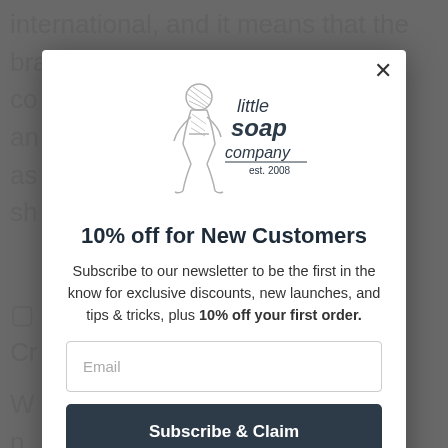[Figure (screenshot): Modal popup overlay on a website page showing the Little Soap Company newsletter signup. Background shows partial article text. Modal contains logo, discount offer headline, description text, email input field, and subscribe button.]
10% off for New Customers
Subscribe to our newsletter to be the first in the know for exclusive discounts, new launches, and tips & tricks, plus 10% off your first order.
Email
Subscribe & Claim